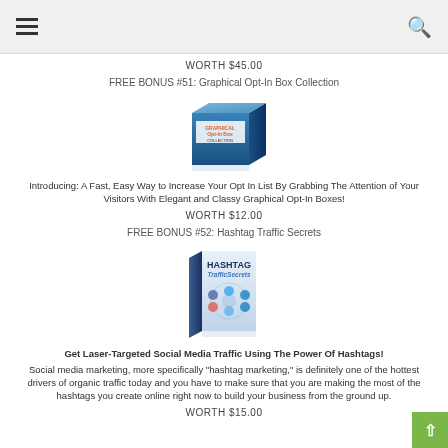☰ [menu] [search]
WORTH $45.00
FREE BONUS #51: Graphical Opt-In Box Collection
[Figure (photo): 3D box product image for Graphical Opt-In Box Collection]
Introducing: A Fast, Easy Way to Increase Your Opt In List By Grabbing The Attention of Your Visitors With Elegant and Classy Graphical Opt-In Boxes!
WORTH $12.00
FREE BONUS #52: Hashtag Traffic Secrets
[Figure (photo): 3D book cover for Hashtag Traffic Secrets with social media icons on cover]
Get Laser-Targeted Social Media Traffic Using The Power Of Hashtags!
Social media marketing, more specifically "hashtag marketing," is definitely one of the hottest drivers of organic traffic today and you have to make sure that you are making the most of the hashtags you create online right now to build your business from the ground up.
WORTH $15.00